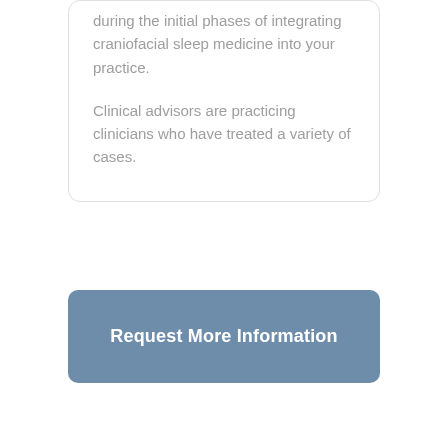during the initial phases of integrating craniofacial sleep medicine into your practice.
Clinical advisors are practicing clinicians who have treated a variety of cases.
Request More Information